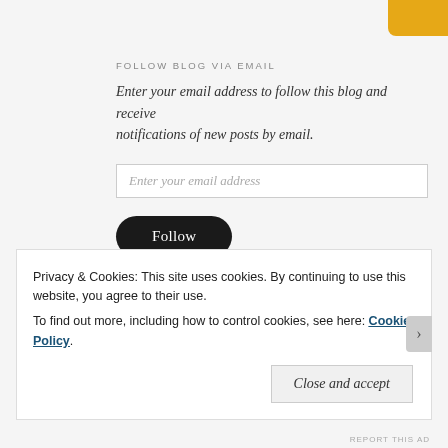FOLLOW BLOG VIA EMAIL
Enter your email address to follow this blog and receive notifications of new posts by email.
Enter your email address
Follow
Join 4,960 other followers
MY PROPHETIC DREAMS FROM 2009-2021 & OUR
Privacy & Cookies: This site uses cookies. By continuing to use this website, you agree to their use.
To find out more, including how to control cookies, see here: Cookie Policy
Close and accept